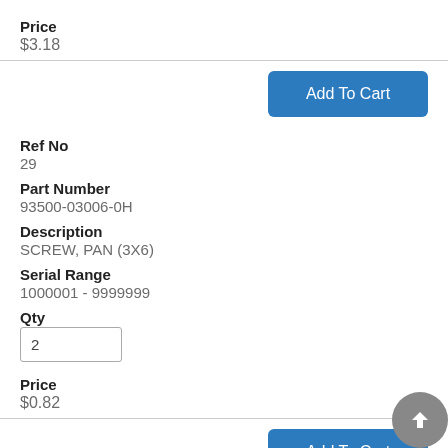Price
$3.18
Add To Cart
Ref No
29
Part Number
93500-03006-0H
Description
SCREW, PAN (3X6)
Serial Range
1000001 - 9999999
Qty
2
Price
$0.82
Add To Cart
Ref No